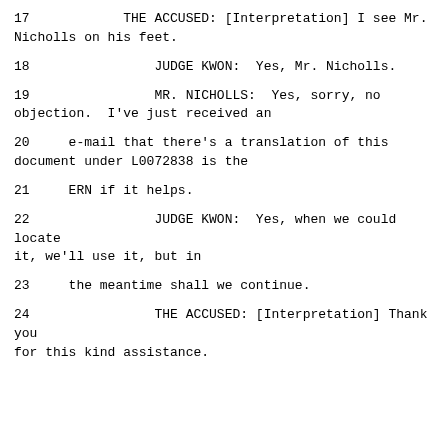17          THE ACCUSED: [Interpretation] I see Mr. Nicholls on his feet.
18                JUDGE KWON:  Yes, Mr. Nicholls.
19                MR. NICHOLLS:  Yes, sorry, no objection.  I've just received an
20     e-mail that there's a translation of this document under L0072838 is the
21     ERN if it helps.
22                JUDGE KWON:  Yes, when we could locate it, we'll use it, but in
23     the meantime shall we continue.
24                THE ACCUSED: [Interpretation] Thank you for this kind assistance.